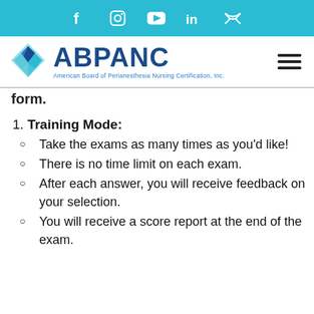[Figure (other): Social media icon bar with teal background showing Facebook, Instagram, YouTube, LinkedIn, and Twitter icons]
[Figure (logo): ABPANC logo with diamond star icon and text 'American Board of Perianesthesia Nursing Certification, Inc.' with hamburger menu icon on right]
form.
1. Training Mode:
Take the exams as many times as you'd like!
There is no time limit on each exam.
After each answer, you will receive feedback on your selection.
You will receive a score report at the end of the exam.